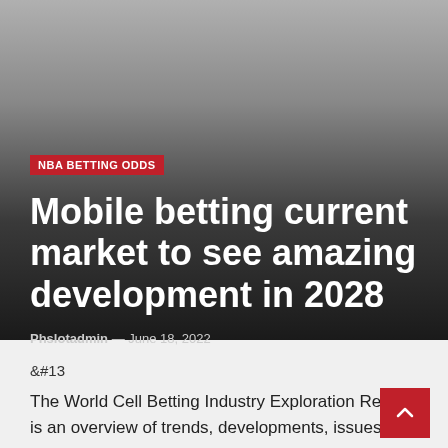[Figure (photo): Hero image with gradient from gray to dark background for article header]
NBA BETTING ODDS
Mobile betting current market to see amazing development in 2028
Phslotadmin — June 18, 2022
&#13
The World Cell Betting Industry Exploration Report is an overview of trends, developments, issues, market estimates, market place share and advancement charge of the cell betting market by 2021. From this review, the